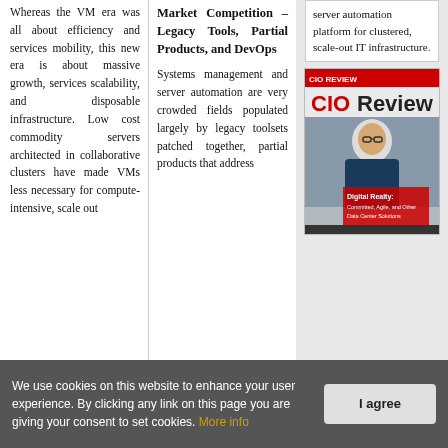Whereas the VM era was all about efficiency and services mobility, this new era is about massive growth, services scalability, and disposable infrastructure. Low cost commodity servers architected in collaborative clusters have made VMs less necessary for compute-intensive, scale out
Market Competition – Legacy Tools, Partial Products, and DevOps
Systems management and server automation are very crowded fields populated largely by legacy toolsets patched together, partial products that address
server automation platform for clustered, scale-out IT infrastructure.
[Figure (photo): Magazine cover of CIOReview featuring a man in a suit with text 'Digital Realty: Committed, Agile, and Other Data Center Solutions']
We use cookies on this website to enhance your user experience. By clicking any link on this page you are giving your consent to set cookies. More info